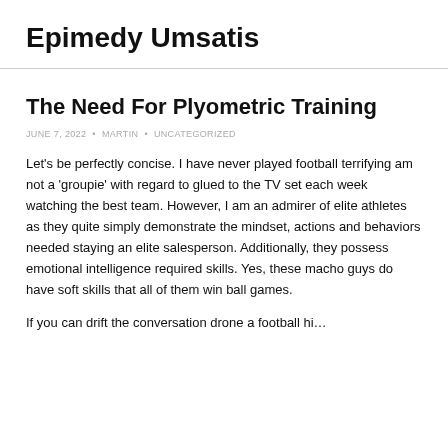Epimedy Umsatis
The Need For Plyometric Training
JUNE 7, 2022 • MARTIN • UNCATEGORIZED
Let’s be perfectly concise. I have never played football terrifying am not a ‘groupie’ with regard to glued to the TV set each week watching the best team. However, I am an admirer of elite athletes as they quite simply demonstrate the mindset, actions and behaviors needed staying an elite salesperson. Additionally, they possess emotional intelligence required skills. Yes, these macho guys do have soft skills that all of them win ball games.
If you can drift the conversation drone a football hi...